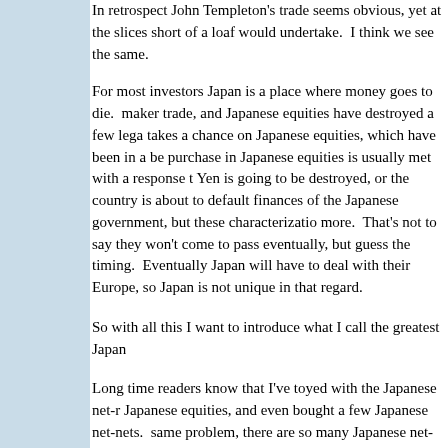In retrospect John Templeton's trade seems obvious, yet at the slices short of a loaf would undertake. I think we see the same.
For most investors Japan is a place where money goes to die. maker trade, and Japanese equities have destroyed a few lega takes a chance on Japanese equities, which have been in a be purchase in Japanese equities is usually met with a response t Yen is going to be destroyed, or the country is about to default finances of the Japanese government, but these characterizatio more. That's not to say they won't come to pass eventually, bu guess the timing. Eventually Japan will have to deal with their Europe, so Japan is not unique in that regard.
So with all this I want to introduce what I call the greatest Japa
Long time readers know that I've toyed with the Japanese net-r Japanese equities, and even bought a few Japanese net-nets. same problem, there are so many Japanese net-nets, how do I financial statements in an effort to pick the "best" cheapest com metrics, yet I've never had the feeling that I'm fully capturing the the lowest P/NCAV, or the ones with the highest ROE, or the o know what will work the best in the future.
In thinking about Japan I've started to think about the John Tem buy ALL of the Japanese net-net's I'd be happy. Sure, some wo